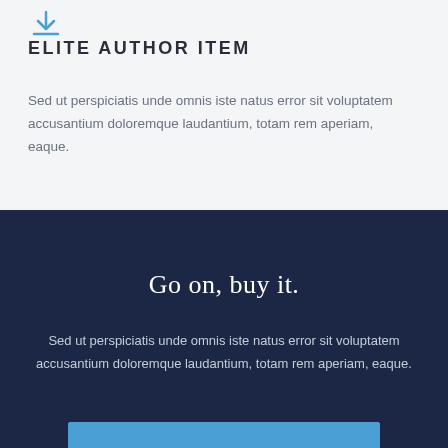[Figure (illustration): Small blue download/arrow icon with a horizontal line beneath it]
ELITE AUTHOR ITEM
Sed ut perspiciatis unde omnis iste natus error sit voluptatem accusantium doloremque laudantium, totam rem aperiam, eaque.
Go on, buy it.
Sed ut perspiciatis unde omnis iste natus error sit voluptatem accusantium doloremque laudantium, totam rem aperiam, eaque.